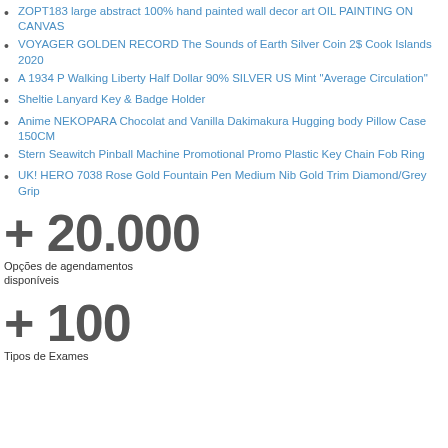ZOPT183 large abstract 100% hand painted wall decor art OIL PAINTING ON CANVAS
VOYAGER GOLDEN RECORD The Sounds of Earth Silver Coin 2$ Cook Islands 2020
A 1934 P Walking Liberty Half Dollar 90% SILVER US Mint "Average Circulation"
Sheltie Lanyard Key & Badge Holder
Anime NEKOPARA Chocolat and Vanilla Dakimakura Hugging body Pillow Case 150CM
Stern Seawitch Pinball Machine Promotional Promo Plastic Key Chain Fob Ring
UK! HERO 7038 Rose Gold Fountain Pen Medium Nib Gold Trim Diamond/Grey Grip
+ 20.000
Opções de agendamentos disponíveis
+ 100
Tipos de Exames